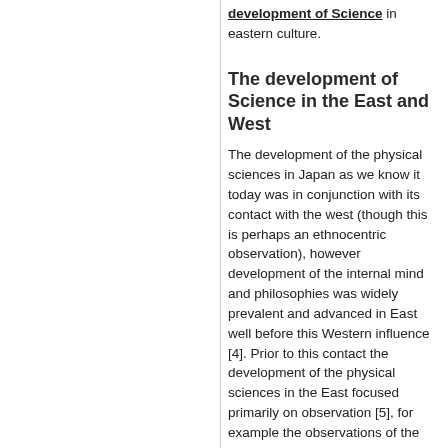development of Science in eastern culture.
The development of Science in the East and West
The development of the physical sciences in Japan as we know it today was in conjunction with its contact with the west (though this is perhaps an ethnocentric observation), however development of the internal mind and philosophies was widely prevalent and advanced in East well before this Western influence [4]. Prior to this contact the development of the physical sciences in the East focused primarily on observation [5], for example the observations of the early Chinese astronomers was highly regarded. Discovery of the relationship between